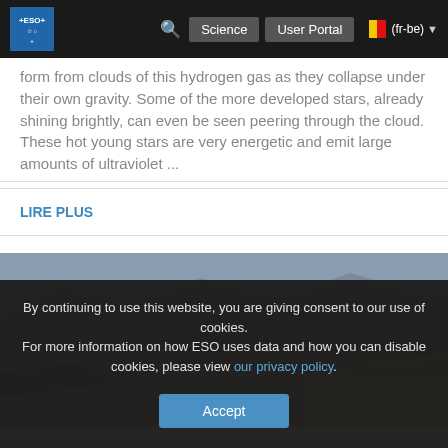ESO | Science | User Portal | (fr-be)
form from clouds of this hydrogen gas as they collapse under their own gravity. Some of the more developed stars, already shining brightly, can even be seen peering through the cloud. These hot young stars are very energetic and emit large amounts of ultraviolet ...
LIRE PLUS
[Figure (photo): Aerial landscape photograph of arid, brown and ochre desert mountains with a road visible; likely an observatory site in a remote area]
By continuing to use this website, you are giving consent to our use of cookies. For more information on how ESO uses data and how you can disable cookies, please view our privacy policy.